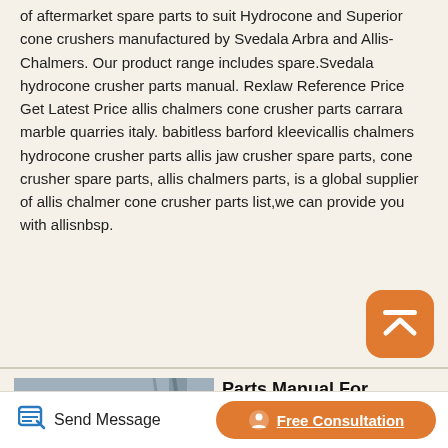of aftermarket spare parts to suit Hydrocone and Superior cone crushers manufactured by Svedala Arbra and Allis-Chalmers. Our product range includes spare.Svedala hydrocone crusher parts manual. Rexlaw Reference Price Get Latest Price allis chalmers cone crusher parts carrara marble quarries italy. babitless barford kleevicallis chalmers hydrocone crusher parts allis jaw crusher spare parts, cone crusher spare parts, allis chalmers parts, is a global supplier of allis chalmer cone crusher parts list,we can provide you with allisnbsp.
[Figure (logo): Orange rounded square button with upward chevron/arrow icon]
[Figure (photo): Photo of a large white cone crusher machine with red accent ring, in an industrial warehouse setting]
Parts Manual For Svedala Crusher Cone Crusher
Parts Manual For Svedala Crusher. Svedala hydrocone
Send Message   Free Consultation